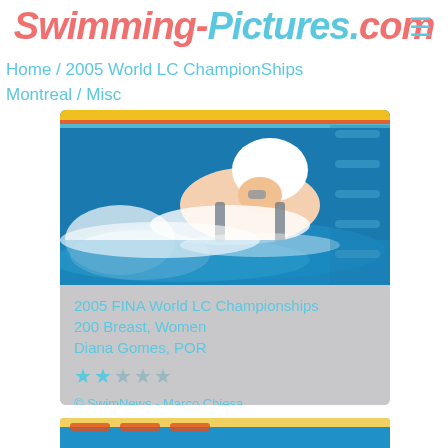Swimming-Pictures.com
Home / 2005 World LC ChampionShips Montreal / Misc
[Figure (photo): Female swimmer performing breaststroke at 2005 FINA World LC Championships, wearing white swim cap, water splashing around her, blue pool lane lines visible in background]
2005 FINA World LC Championships
200 Breast, Women
Diana Gomes, POR
★★☆☆☆
© SwimNews - Marco Chiesa
[Figure (photo): Partial view of another swimmer at pool, yellow lane floats visible at top, blue water background, second card partially visible at bottom of page]